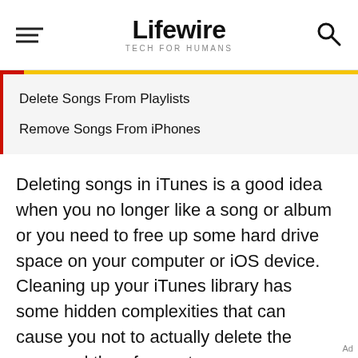Lifewire — TECH FOR HUMANS
Delete Songs From Playlists
Remove Songs From iPhones
Deleting songs in iTunes is a good idea when you no longer like a song or album or you need to free up some hard drive space on your computer or iOS device.
Cleaning up your iTunes library has some hidden complexities that can cause you not to actually delete the song and therefore not save